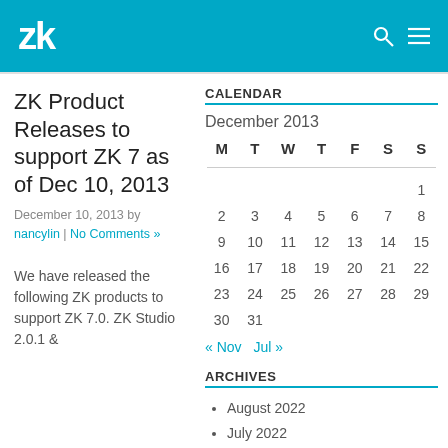zk
ZK Product Releases to support ZK 7 as of Dec 10, 2013
December 10, 2013 by nancylin | No Comments »
We have released the following ZK products to support ZK 7.0. ZK Studio 2.0.1 &
CALENDAR
December 2013
| M | T | W | T | F | S | S |
| --- | --- | --- | --- | --- | --- | --- |
|  |  |  |  |  |  | 1 |
| 2 | 3 | 4 | 5 | 6 | 7 | 8 |
| 9 | 10 | 11 | 12 | 13 | 14 | 15 |
| 16 | 17 | 18 | 19 | 20 | 21 | 22 |
| 23 | 24 | 25 | 26 | 27 | 28 | 29 |
| 30 | 31 |  |  |  |  |  |
« Nov  Jul »
ARCHIVES
August 2022
July 2022